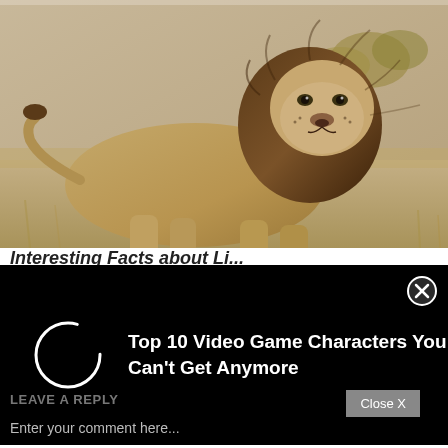[Figure (photo): A male lion standing in golden savanna grassland, facing the camera with a full dark mane, sepia/warm toned photograph.]
Interesting Facts about Li...
[Figure (screenshot): Black overlay advertisement banner showing a loading spinner circle on the left and the text 'Top 10 Video Game Characters You Can't Get Anymore' on the right, with a close (X) button in the top-right corner.]
LEAVE A REPLY
Close X
Enter your comment here...